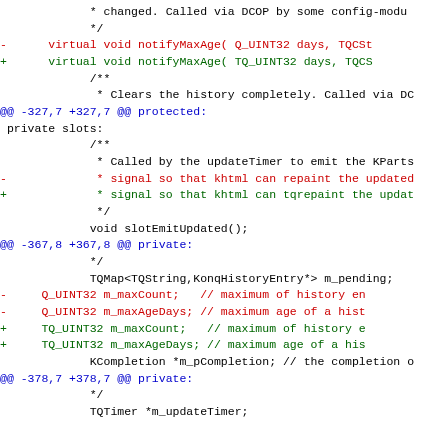* changed. Called via DCOP by some config-modu
 */
- virtual void notifyMaxAge( Q_UINT32 days, TQCSt
+ virtual void notifyMaxAge( TQ_UINT32 days, TQCS

 /**
  * Clears the history completely. Called via DC
@@ -327,7 +327,7 @@ protected:
 private slots:
      /**
       * Called by the updateTimer to emit the KParts
-      * signal so that khtml can repaint the updated
+      * signal so that khtml can tqrepaint the updat
       */
      void slotEmitUpdated();

@@ -367,8 +367,8 @@ private:
      */
      TQMap<TQString,KonqHistoryEntry*> m_pending;

-     Q_UINT32 m_maxCount;   // maximum of history en
-     Q_UINT32 m_maxAgeDays; // maximum age of a hist
+     TQ_UINT32 m_maxCount;   // maximum of history e
+     TQ_UINT32 m_maxAgeDays; // maximum age of a his

      KCompletion *m_pCompletion; // the completion o

@@ -378,7 +378,7 @@ private:
      */
      TQTimer *m_updateTimer;